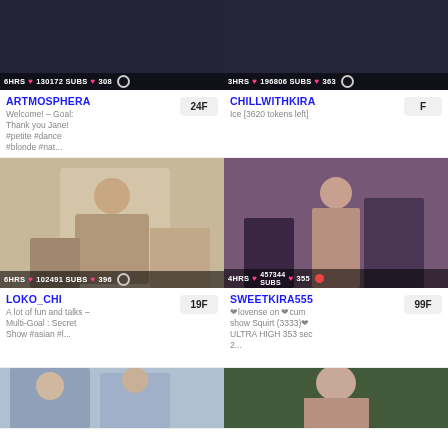[Figure (screenshot): Thumbnail of ARTMOSPHERA stream with stats bar: 6HRS, heart icon, 130172 SUBS, heart 308, gender icon]
ARTMOSPHERA
Welcome! – Goal: Thank you Jane! #petite #dance #blonde #nat...
24F
[Figure (screenshot): Thumbnail of CHILLWITHKIRA stream with stats bar: 3HRS, heart icon, 196806 SUBS, heart 363, gender icon]
CHILLWITHKIRA
Ice [3620 tokens left]
F
[Figure (photo): Thumbnail of LOKO_CHI stream showing person, stats: 6HRS, heart, 102491 SUBS, heart 396, circle icon]
LOKO_CHI
A lot of fun and talks – Multi-Goal : Secret Show #asian #l...
19F
[Figure (photo): Thumbnail of SWEETKIRA555 stream, stats: 4HRS, heart, 457344 SUBS, heart 355, circle icon]
SWEETKIRA555
❤lovense on ❤cum show Squirt (3333)❤ ULTRA HIGH 353 sec 2...
99F
[Figure (photo): Partial thumbnail bottom-left showing two people]
[Figure (photo): Partial thumbnail bottom-right showing person in lingerie]